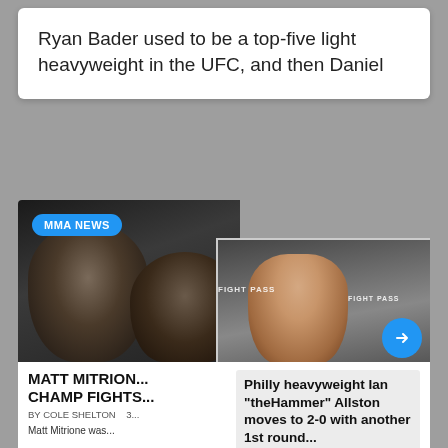Ryan Bader used to be a top-five light heavyweight in the UFC, and then Daniel
[Figure (photo): MMA fighters face-off photo composite: close-up of two fighters facing each other (left), and a shirtless long-haired man flexing at a weigh-in with FIGHT PASS branding (right). MMA NEWS badge visible.]
MATT MITRION... CHAMP FIGHTS...
BY COLE SHELTON   3...
Matt Mitrione was...
Philly heavyweight Ian "theHammer" Allston moves to 2-0 with another 1st round...